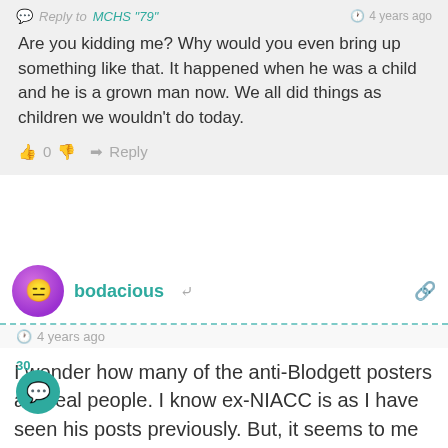Reply to MCHS "79" · 4 years ago
Are you kidding me? Why would you even bring up something like that. It happened when he was a child and he is a grown man now. We all did things as children we wouldn't do today.
0 · Reply
bodacious · 4 years ago
I wonder how many of the anti-Blodgett posters are real people. I know ex-NIACC is as I have seen his posts previously. But, it seems to me that Todd has paid his dues. Nothing he says here is really political other than his swipe at JFK. However, the ISEA and Warren posters only add more fuel to the fire and help to ensure that Trump and the right wing will continue to pick up votes as you